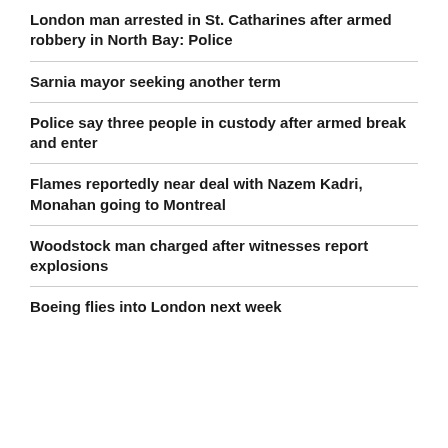London man arrested in St. Catharines after armed robbery in North Bay: Police
Sarnia mayor seeking another term
Police say three people in custody after armed break and enter
Flames reportedly near deal with Nazem Kadri, Monahan going to Montreal
Woodstock man charged after witnesses report explosions
Boeing flies into London next week